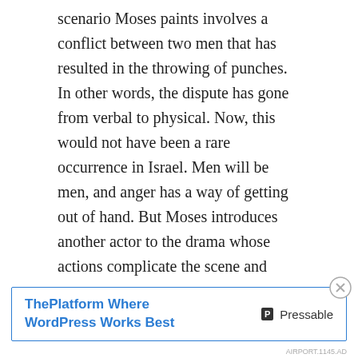scenario Moses paints involves a conflict between two men that has resulted in the throwing of punches. In other words, the dispute has gone from verbal to physical. Now, this would not have been a rare occurrence in Israel. Men will be men, and anger has a way of getting out of hand. But Moses introduces another actor to the drama whose actions complicate the scene and require the divine regulation that follows. The point of the passage is not the bare-knuckles brawl between the two men, but the indelicate behavior of one of their wives. Moses describes her involvement this way: “the wife of the one draws near to rescue her husband from the hand of him who is beating him and puts out her hand and seizes him by the private parts”
Advertisements
[Figure (other): Advertisement banner for Pressable: 'ThePlatform Where WordPress Works Best' with Pressable logo]